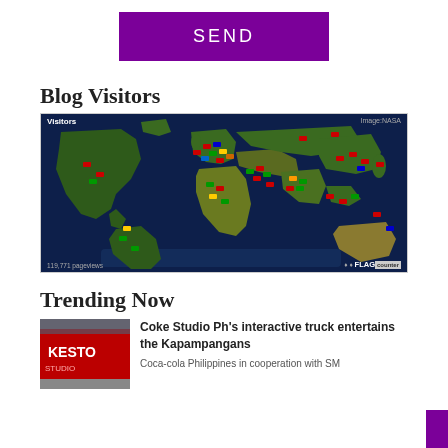[Figure (other): Purple SEND button]
Blog Visitors
[Figure (map): World map showing blog visitors with country flags pinned across the globe. Label reads 'Visitors' top-left and 'Image:NASA' top-right. Footer shows '119,771 pageviews' and 'FLAG counter' logo.]
Trending Now
[Figure (photo): Thumbnail photo showing a Coke Studio truck/banner in red]
Coke Studio Ph's interactive truck entertains the Kapampangans
Coca-cola Philippines in cooperation with SM